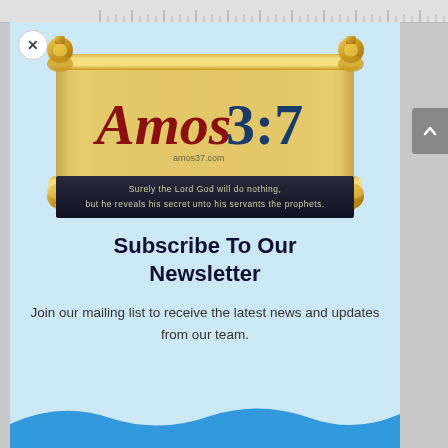[Figure (logo): Amos 3:7 website logo on a scroll illustration with the text 'Amos 3:7' and amos37.com, with a dark banner reading 'Surely the Lord God will do nothing, but he reveals his secret unto his servants the prophets.']
Subscribe To Our Newsletter
Join our mailing list to receive the latest news and updates from our team.